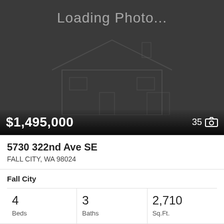[Figure (photo): Loading photo placeholder showing a house outline on dark background with price $1,495,000 and photo count 35]
$1,495,000
35
5730 322nd Ave SE
FALL CITY, WA 98024
Fall City
4
Beds
3
Baths
2,710
Sq.Ft.
MLS® #: 1970225
[Figure (photo): Second real estate listing card with dark background, accessibility icon (green circle with wheelchair user), and heart/favorite icon]